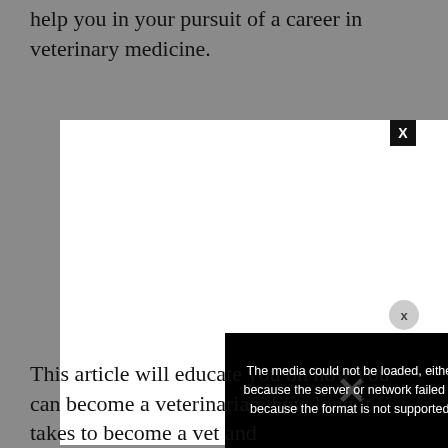help you in your pursuit of a career in veterinary medicine.
[Figure (other): A white rectangular media player area with a black close (X) button in the top right corner, a circular X button on the right side, and a black error overlay in the lower right portion showing text: 'The media could not be loaded, either because the server or network failed or because the format is not supported.' with a large X icon overlaid.]
This article will educate you on how you can become a veterinarian, how long it takes to become a vet and